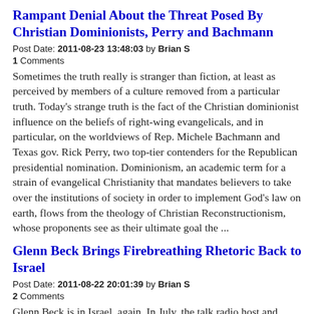Rampant Denial About the Threat Posed By Christian Dominionists, Perry and Bachmann
Post Date: 2011-08-23 13:48:03 by Brian S
1 Comments
Sometimes the truth really is stranger than fiction, at least as perceived by members of a culture removed from a particular truth. Today's strange truth is the fact of the Christian dominionist influence on the beliefs of right-wing evangelicals, and in particular, on the worldviews of Rep. Michele Bachmann and Texas gov. Rick Perry, two top-tier contenders for the Republican presidential nomination. Dominionism, an academic term for a strain of evangelical Christianity that mandates believers to take over the institutions of society in order to implement God's law on earth, flows from the theology of Christian Reconstructionism, whose proponents see as their ultimate goal the ...
Glenn Beck Brings Firebreathing Rhetoric Back to Israel
Post Date: 2011-08-22 20:01:39 by Brian S
2 Comments
Glenn Beck is in Israel, again. In July, the talk radio host and former Fox News star was invited to the Kensset, where he met “a room full of admirers” — in the words of a Channel 1 report — led by Likud MK Danny Danon. Beck urged Israelis to stand strong; among those shaking his hand was Baruch Marzel